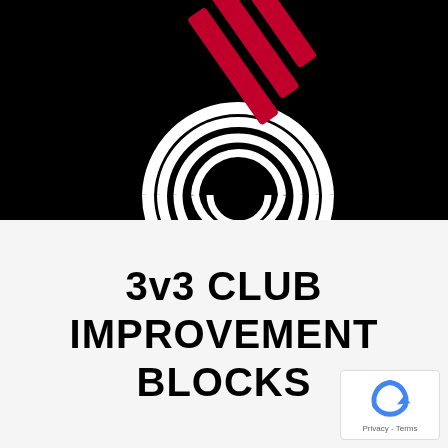[Figure (logo): Stylized number 3 logo with white concentric arcs forming the lower curve and red diagonal stripes forming the upper portion, on a black background]
3v3 CLUB IMPROVEMENT BLOCKS